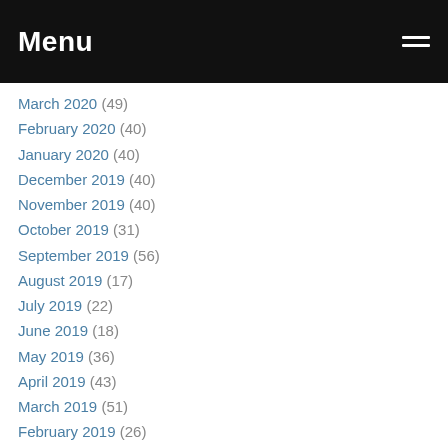Menu
March 2020 (49)
February 2020 (40)
January 2020 (40)
December 2019 (40)
November 2019 (40)
October 2019 (31)
September 2019 (56)
August 2019 (17)
July 2019 (22)
June 2019 (18)
May 2019 (36)
April 2019 (43)
March 2019 (51)
February 2019 (26)
January 2019 (18)
December 2018 (7)